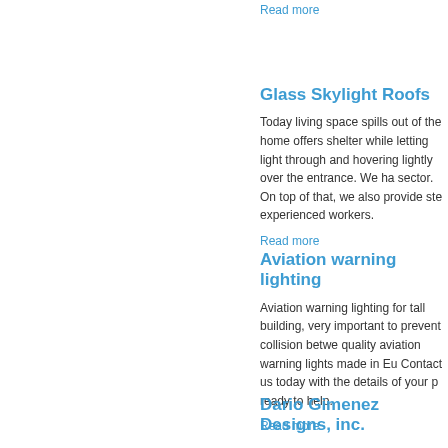Read more
Glass Skylight Roofs
Today living space spills out of the home offers shelter while letting light through and hovering lightly over the entrance. We have sector. On top of that, we also provide ste experienced workers.
Read more
Aviation warning lighting
Aviation warning lighting for tall building, very important to prevent collision betwe quality aviation warning lights made in Eu Contact us today with the details of your ready to help.
Read more
Dario Gimenez Designs, inc.
If you are looking for one stop solution to the name for you! We are a leading name fabrication, carpentry, window dressing, c experienced team who has the right skill attractiveness and special effects. We ar we are loved by our customers is becaus approach which helps us incorporate ou